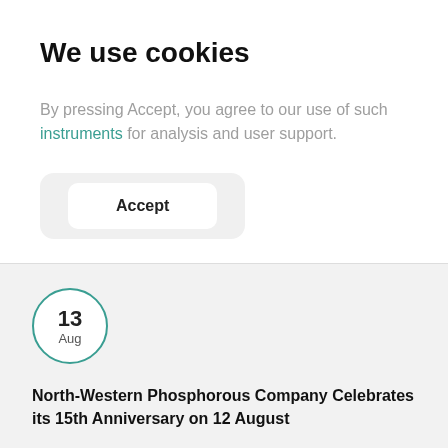We use cookies
By pressing Accept, you agree to our use of such instruments for analysis and user support.
Accept
13
Aug
North-Western Phosphorous Company Celebrates its 15th Anniversary on 12 August
Ru  En